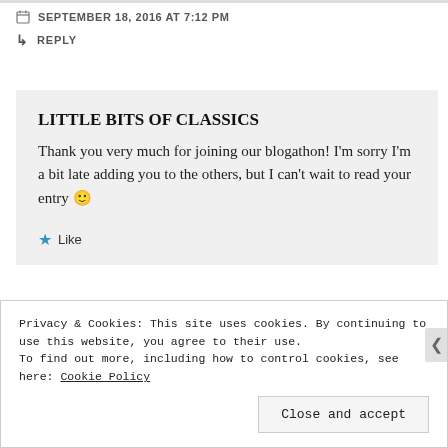SEPTEMBER 18, 2016 AT 7:12 PM
REPLY
LITTLE BITS OF CLASSICS
Thank you very much for joining our blogathon! I'm sorry I'm a bit late adding you to the others, but I can't wait to read your entry 🙂
Like
Privacy & Cookies: This site uses cookies. By continuing to use this website, you agree to their use. To find out more, including how to control cookies, see here: Cookie Policy
Close and accept